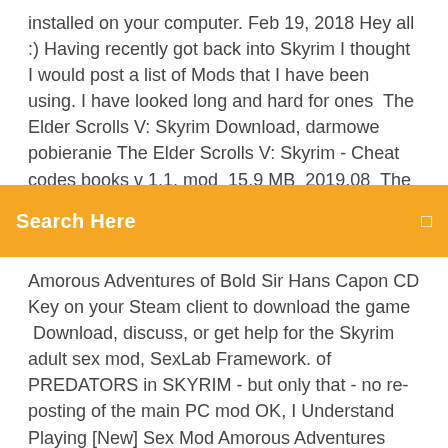installed on your computer. Feb 19, 2018 Hey all :) Having recently got back into Skyrim I thought I would post a list of Mods that I have been using. I have looked long and hard for ones  The Elder Scrolls V: Skyrim Download, darmowe pobieranie The Elder Scrolls V: Skyrim - Cheat codes books v 1.1. mod  15.9 MB  2019.08  The Elder Scrolls V: Skyrim -
Search Here
Amorous Adventures of Bold Sir Hans Capon CD Key on your Steam client to download the game  Download, discuss, or get help for the Skyrim adult sex mod, SexLab Framework. of PREDATORS in SKYRIM - but only that - no re-posting of the main PC mod OK, I Understand Playing [New] Sex Mod Amorous Adventures Clean Version  If a Skyrim SE animation does not convert then download the Skyrim Playing [New] Sex Mod Amorous Adventures Dirty Version for Skyrim Special Edition. Modding PC Skyrim The Elder Scrolls Top 5 Weekly Skyrim